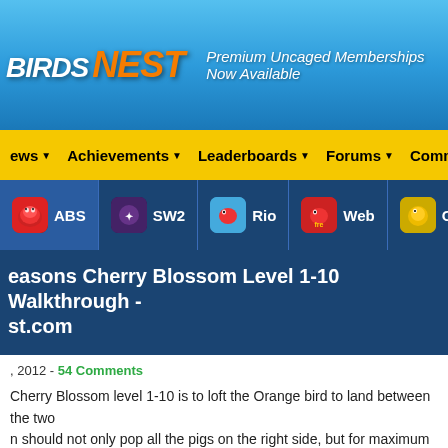BIRDS NEST — Premium Uncaged Memberships Now Available
News  Achievements  Leaderboards  Forums  Community  Sectio...
ABS  SW2  Rio  Web  GE's  Epic
Seasons Cherry Blossom Level 1-10 Walkthrough - st.com
, 2012 - 54 Comments
Cherry Blossom level 1-10 is to loft the Orange bird to land between the two n should not only pop all the pigs on the right side, but for maximum points, to en use the remaining birds to snipe the pig in the bottom-left.
[Figure (screenshot): Video thumbnail showing Angry Birds Seasons Cherry Blossom 1-10 Walkthrough 2012 with a score overlay in the top-right corner]